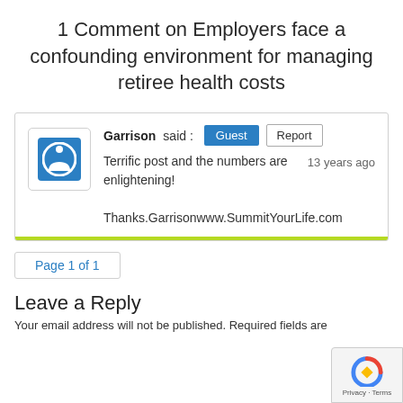1 Comment on Employers face a confounding environment for managing retiree health costs
Garrison said : [Guest] [Report]
Terrific post and the numbers   13 years ago
are enlightening!
Thanks.Garrisonwww.SummitYourLife.com
Page 1 of 1
Leave a Reply
Your email address will not be published. Required fields are